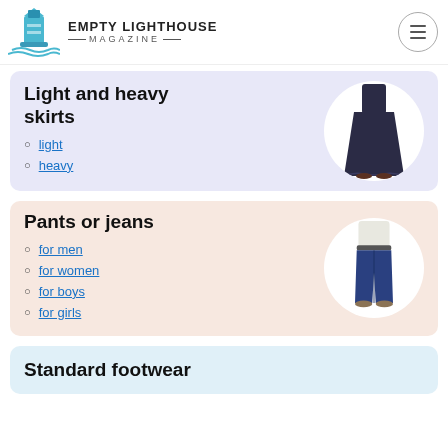EMPTY LIGHTHOUSE MAGAZINE
Light and heavy skirts
light
heavy
[Figure (photo): A dark navy blue long maxi skirt]
Pants or jeans
for men
for women
for boys
for girls
[Figure (photo): A woman wearing dark blue skinny jeans]
Standard footwear